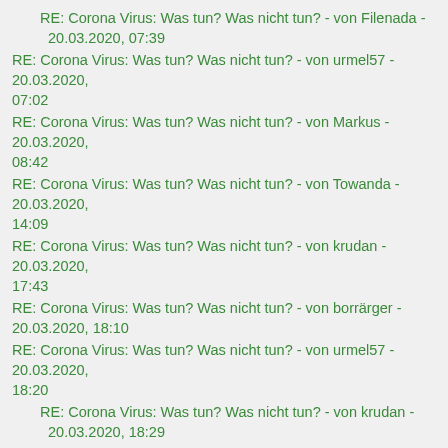RE: Corona Virus: Was tun? Was nicht tun? - von Filenada - 20.03.2020, 07:39
RE: Corona Virus: Was tun? Was nicht tun? - von urmel57 - 20.03.2020, 07:02
RE: Corona Virus: Was tun? Was nicht tun? - von Markus - 20.03.2020, 08:42
RE: Corona Virus: Was tun? Was nicht tun? - von Towanda - 20.03.2020, 14:09
RE: Corona Virus: Was tun? Was nicht tun? - von krudan - 20.03.2020, 17:43
RE: Corona Virus: Was tun? Was nicht tun? - von borrärger - 20.03.2020, 18:10
RE: Corona Virus: Was tun? Was nicht tun? - von urmel57 - 20.03.2020, 18:20
RE: Corona Virus: Was tun? Was nicht tun? - von krudan - 20.03.2020, 18:29
RE: Corona Virus: Was tun? Was nicht tun? - von krudan - 20.03.2020, 18:21
RE: Corona Virus: Was tun? Was nicht tun? - von urmel57 - 20.03.2020, 18:38
RE: Corona Virus: Was tun? Was nicht tun? - von krudan - 20.03.2020, 18:42
RE: Corona Virus: Was tun? Was nicht tun? - von urmel57 - 20.03.2020,